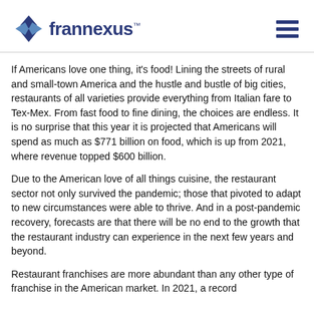frannexus
If Americans love one thing, it's food! Lining the streets of rural and small-town America and the hustle and bustle of big cities, restaurants of all varieties provide everything from Italian fare to Tex-Mex. From fast food to fine dining, the choices are endless. It is no surprise that this year it is projected that Americans will spend as much as $771 billion on food, which is up from 2021, where revenue topped $600 billion.
Due to the American love of all things cuisine, the restaurant sector not only survived the pandemic; those that pivoted to adapt to new circumstances were able to thrive. And in a post-pandemic recovery, forecasts are that there will be no end to the growth that the restaurant industry can experience in the next few years and beyond.
Restaurant franchises are more abundant than any other type of franchise in the American market. In 2021, a record